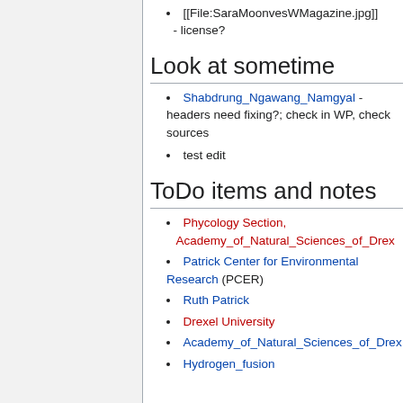[[File:SaraMoonvesWMagazine.jpg]] - license?
Look at sometime
Shabdrung_Ngawang_Namgyal - headers need fixing?; check in WP, check sources
test edit
ToDo items and notes
Phycology Section, Academy_of_Natural_Sciences_of_Drex
Patrick Center for Environmental Research (PCER)
Ruth Patrick
Drexel University
Academy_of_Natural_Sciences_of_Drex
Hydrogen_fusion